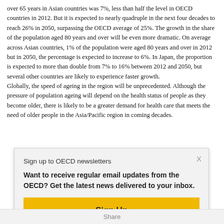over 65 years in Asian countries was 7%, less than half the level in OECD countries in 2012. But it is expected to nearly quadruple in the next four decades to reach 26% in 2050, surpassing the OECD average of 25%. The growth in the share of the population aged 80 years and over will be even more dramatic. On average across Asian countries, 1% of the population were aged 80 years and over in 2012 but in 2050, the percentage is expected to increase to 6%. In Japan, the proportion is expected to more than double from 7% to 16% between 2012 and 2050, but several other countries are likely to experience faster growth.
Globally, the speed of ageing in the region will be unprecedented. Although the pressure of population ageing will depend on the health status of people as they become older, there is likely to be a greater demand for health care that meets the need of older people in the Asia/Pacific region in coming decades.
Sign up to OECD newsletters
Want to receive regular email updates from the OECD? Get the latest news delivered to your inbox.
Sign Up
Share